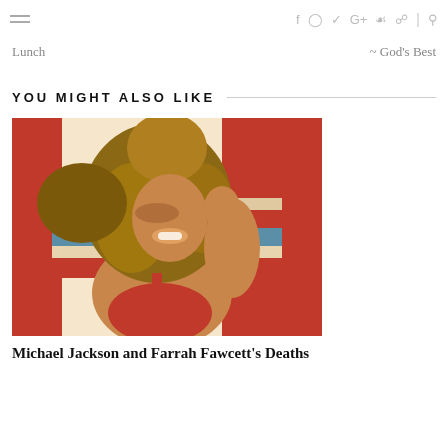≡  f  ⊙  𝕥  G+  ℙ  ⊓  |  🔍
Lunch  ~  God's Best
YOU MIGHT ALSO LIKE
[Figure (photo): A woman with long wavy blonde hair, smiling and leaning back, wearing a red swimsuit, in front of a red and white striped background.]
Michael Jackson and Farrah Fawcett's Deaths